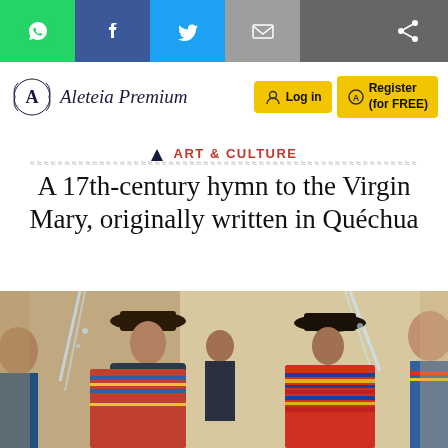[Figure (screenshot): Social sharing bar with WhatsApp, Facebook, Twitter, Email, and Share buttons on dark background]
[Figure (logo): Aleteia Premium logo with 'A' emblem in wreath and italic brand name, with Log in and Register (for FREE) yellow buttons]
ART & CULTURE
A 17th-century hymn to the Virgin Mary, originally written in Quéchua
[Figure (photo): Indigenous people wearing colorful traditional ponchos at what appears to be a public fountain or plaza, likely in the Andean region]